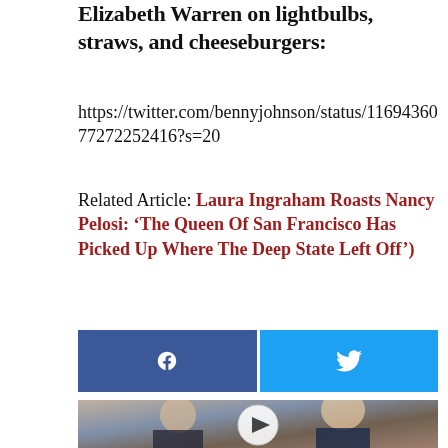Elizabeth Warren on lightbulbs, straws, and cheeseburgers:
https://twitter.com/bennyjohnson/status/1169436077272252416?s=20
Related Article: Laura Ingraham Roasts Nancy Pelosi: ‘The Queen Of San Francisco Has Picked Up Where The Deep State Left Off’)
[Figure (other): Social share buttons: Facebook (blue) and Twitter (cyan) side by side]
[Figure (photo): Photo of Melania Trump and Donald Trump with a video play button overlay]